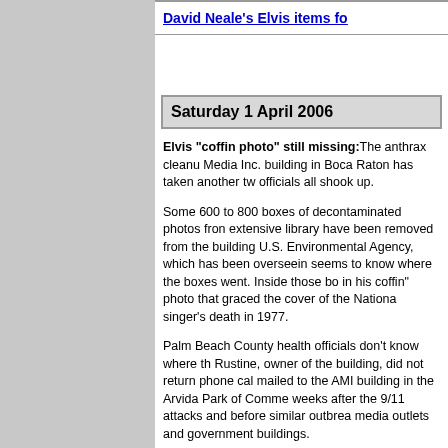David Neale's Elvis items fo
Saturday 1 April 2006
Elvis "coffin photo" still missing: The anthrax cleanup of the American Media Inc. building in Boca Raton has taken another tw... officials all shook up.
Some 600 to 800 boxes of decontaminated photos from the publication's extensive library have been removed from the building... U.S. Environmental Agency, which has been overseeing... seems to know where the boxes went. Inside those bo... in his coffin" photo that graced the cover of the Nationa... singer's death in 1977.
Palm Beach County health officials don't know where th... Rustine, owner of the building, did not return phone cal... mailed to the AMI building in the Arvida Park of Comme... weeks after the 9/11 attacks and before similar outbrea... media outlets and government buildings.
The deadly spores killed Sun Photo Editor Bob Stevens... worker, Ernesto Blanco, who recovered. Bio-ONE deco... last year began to fumigate boxes of building contents... photos - dead Elvis among them. Bio-ONE left in June... Rustine hired MARCOR Remediation to finish.